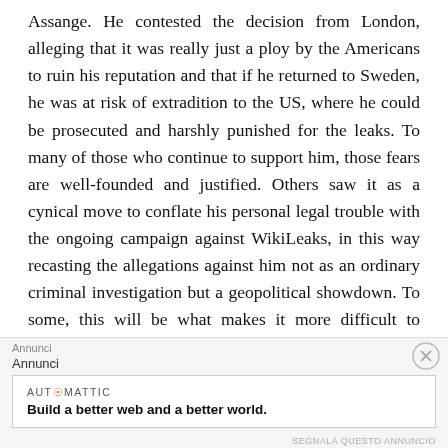Assange. He contested the decision from London, alleging that it was really just a ploy by the Americans to ruin his reputation and that if he returned to Sweden, he was at risk of extradition to the US, where he could be prosecuted and harshly punished for the leaks. To many of those who continue to support him, those fears are well-founded and justified. Others saw it as a cynical move to conflate his personal legal trouble with the ongoing campaign against WikiLeaks, in this way recasting the allegations against him not as an ordinary criminal investigation but a geopolitical showdown. To some, this will be what makes it more difficult to support him now, at the time when he is in deeper trouble than ever before.
Annunci
Annunci
[Figure (infographic): Advertisement box with AUTOMATTIC brand logo and tagline: Build a better web and a better world.]